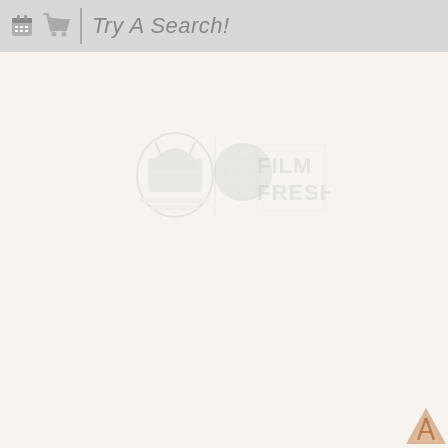[Figure (screenshot): Website header bar with calendar icon, shopping cart icon, vertical divider, and italic text 'Try A Search!' on a gray background]
[Figure (logo): Faded/watermarked logos in the center of the page: appears to show a grocery/market logo and 'FILM FRESH' text logo side by side]
[Figure (logo): Small orange/tan triangular logo in bottom right corner]